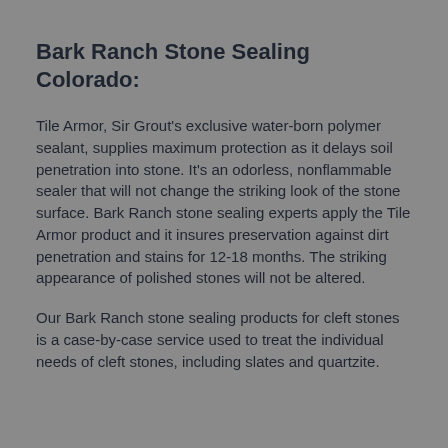Bark Ranch Stone Sealing Colorado:
Tile Armor, Sir Grout's exclusive water-born polymer sealant, supplies maximum protection as it delays soil penetration into stone. It's an odorless, nonflammable sealer that will not change the striking look of the stone surface. Bark Ranch stone sealing experts apply the Tile Armor product and it insures preservation against dirt penetration and stains for 12-18 months. The striking appearance of polished stones will not be altered.
Our Bark Ranch stone sealing products for cleft stones is a case-by-case service used to treat the individual needs of cleft stones, including slates and quartzite.